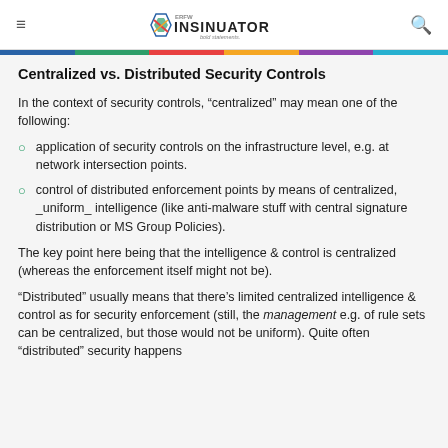ERFW INSINUATOR bold statements.
Centralized vs. Distributed Security Controls
In the context of security controls, "centralized" may mean one of the following:
application of security controls on the infrastructure level, e.g. at network intersection points.
control of distributed enforcement points by means of centralized, _uniform_ intelligence (like anti-malware stuff with central signature distribution or MS Group Policies).
The key point here being that the intelligence & control is centralized (whereas the enforcement itself might not be).
"Distributed" usually means that there’s limited centralized intelligence & control as for security enforcement (still, the management e.g. of rule sets can be centralized, but those would not be uniform). Quite often "distributed" security happens